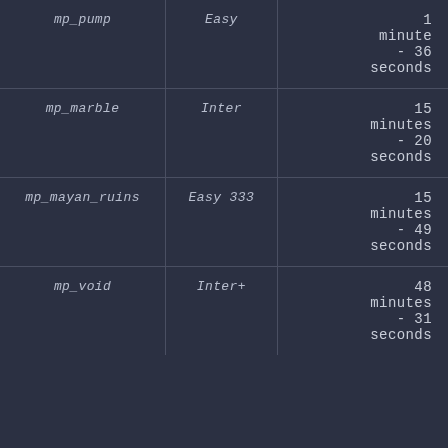| Map | Difficulty | Time |
| --- | --- | --- |
| mp_pump | Easy | 1 minute - 36 seconds |
| mp_marble | Inter | 15 minutes - 20 seconds |
| mp_mayan_ruins | Easy 333 | 15 minutes - 49 seconds |
| mp_void | Inter+ | 48 minutes - 31 seconds |